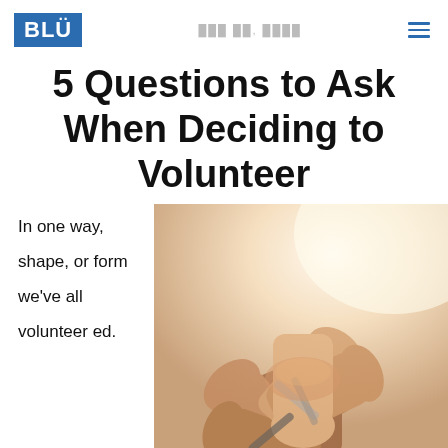BLÜ [date blurred] ☰
5 Questions to Ask When Deciding to Volunteer
In one way, shape, or form we've all volunteered.
[Figure (photo): Multiple hands stacked together in a group gesture, symbolizing teamwork and volunteering.]